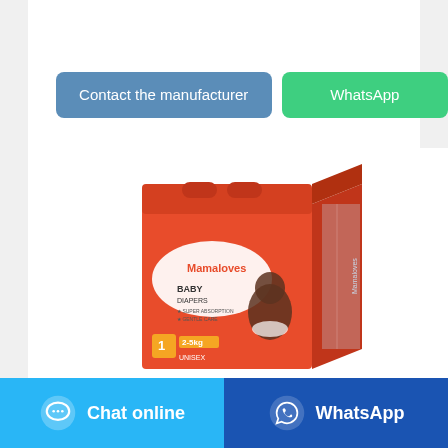[Figure (other): Button: Contact the manufacturer (blue rounded rectangle)]
[Figure (other): Button: WhatsApp (green rounded rectangle)]
[Figure (photo): Mamaloves Baby Diapers product package, orange box, size 1, 2-5kg, Unisex, showing a baby on the front]
Baby Diaper Supplier & Adult
[Figure (other): Bottom bar: Chat online button (light blue) and WhatsApp button (dark blue)]